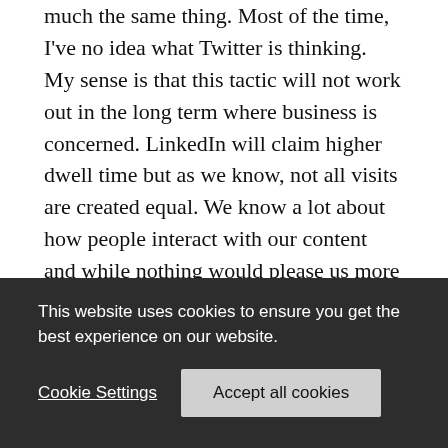much the same thing. Most of the time, I've no idea what Twitter is thinking.

My sense is that this tactic will not work out in the long term where business is concerned. LinkedIn will claim higher dwell time but as we know, not all visits are created equal. We know a lot about how people interact with our content and while nothing would please us more than to know that 100% of people spent oodles of time here, we are equally aware that conversations will go where they will. In our case, we
This website uses cookies to ensure you get the best experience on our website.
Cookie Settings   Accept all cookies